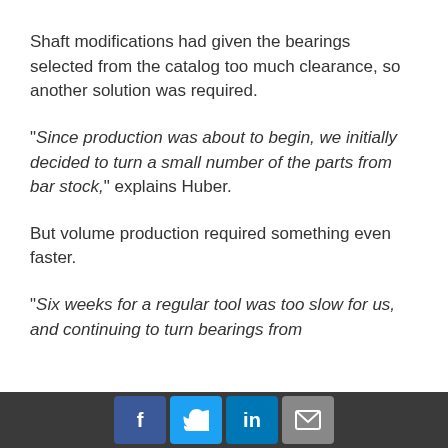Shaft modifications had given the bearings selected from the catalog too much clearance, so another solution was required.
"Since production was about to begin, we initially decided to turn a small number of the parts from bar stock," explains Huber.
But volume production required something even faster.
"Six weeks for a regular tool was too slow for us, and continuing to turn bearings from